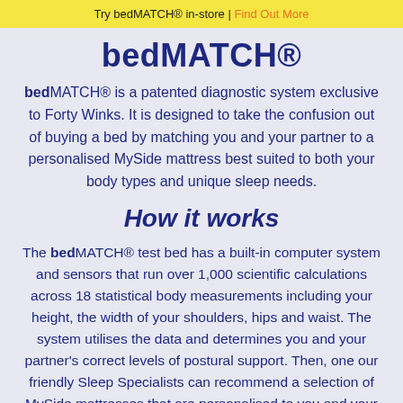Try bedMATCH® in-store | Find Out More
bedMATCH®
bedMATCH® is a patented diagnostic system exclusive to Forty Winks. It is designed to take the confusion out of buying a bed by matching you and your partner to a personalised MySide mattress best suited to both your body types and unique sleep needs.
How it works
The bedMATCH® test bed has a built-in computer system and sensors that run over 1,000 scientific calculations across 18 statistical body measurements including your height, the width of your shoulders, hips and waist. The system utilises the data and determines you and your partner's correct levels of postural support. Then, one our friendly Sleep Specialists can recommend a selection of MySide mattresses that are personalised to you and your